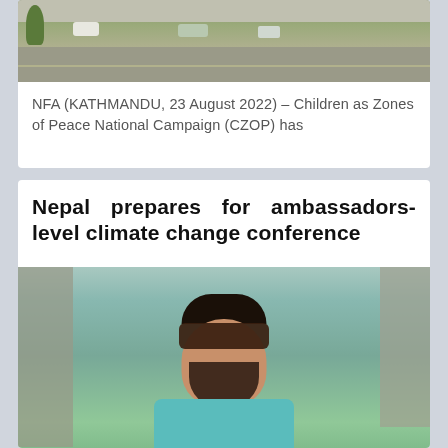[Figure (photo): Aerial/street-level photo of a road with vehicles including motorcycles and cars, with trees and sidewalk visible]
NFA (KATHMANDU, 23 August 2022) – Children as Zones of Peace National Campaign (CZOP) has
Nepal prepares for ambassadors-level climate change conference
[Figure (photo): Portrait photo of a man wearing sunglasses and a teal/turquoise kurta shirt, with beard and mustache, posing outdoors against a stone and green background]